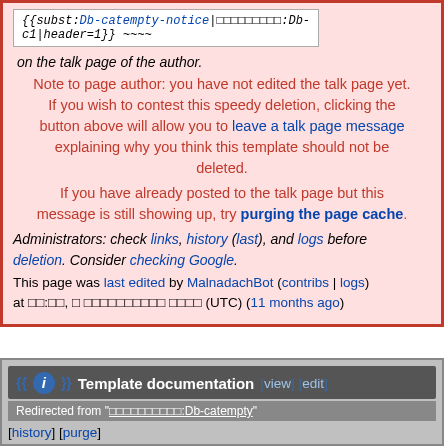{{subst:Db-catempty-notice|□□□□□□□□□:Db-c1|header=1}} ~~~~
on the talk page of the author.
Note to page author: you have not edited the talk page yet. If you wish to contest this speedy deletion, clicking the button above will allow you to leave a talk page message explaining why you think this template should not be deleted.
If you have already posted to the talk page but this message is still showing up, try purging the page cache.
Administrators: check links, history (last), and logs before deletion. Consider checking Google.
This page was last edited by MalnadachBot (contribs | logs) at □□:□□, □ □□□□□□□□□□ □□□□ (UTC) (11 months ago)
Template documentation [view] [edit]
Redirected from "□□□□□□□□□□:Db-catempty"
[history] [purge]